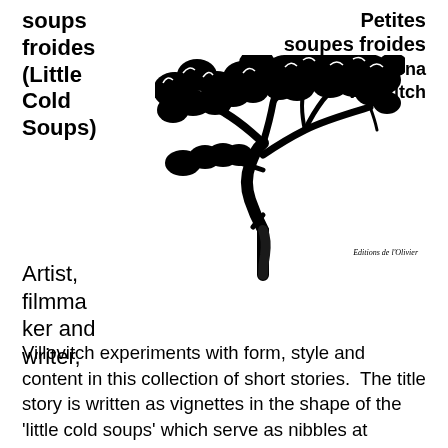soups froides (Little Cold Soups)
Petites soupes froides
Hélèna Villovitch
[Figure (illustration): Black and white silhouette illustration of an olive tree with detailed branches and leaves]
Editions de l'Olivier
Artist, filmmaker and writer,
Villovitch experiments with form, style and content in this collection of short stories.  The title story is written as vignettes in the shape of the 'little cold soups' which serve as nibbles at cocktail parties nowadays, a commentary on the inability to connect to others and the separate conversations going on in people's heads.  Other stories capture celebrity culture and obsession with appearance, cross-cultural misunderstandings and little cruelties or